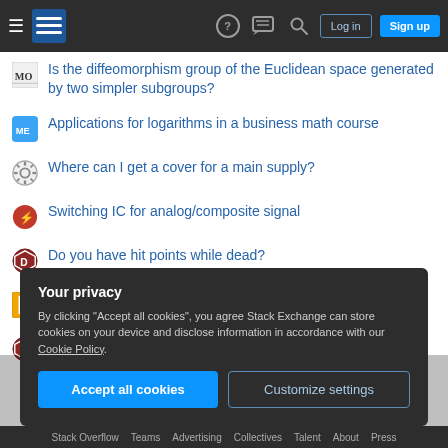Stack Exchange navigation bar with hamburger menu, logo, help, chat, search icons, Log in and Sign up buttons
Is the diffeomorphism group of the Euclidean space generated by two simpler subgroups?
Applications for logarithms in a business math course
Where can I get a cover for a main supply?
Switching IC for analog/composite signal
Do you have hit points while dead?
When is b6 a #5 in major mode?
How can I find magic items intended for a specific class on D&D Beyond?
Your privacy
By clicking "Accept all cookies", you agree Stack Exchange can store cookies on your device and disclose information in accordance with our Cookie Policy.
Accept all cookies
Customize settings
Stack Overflow   Teams   Advertising   Collectives   Talent   About   Press